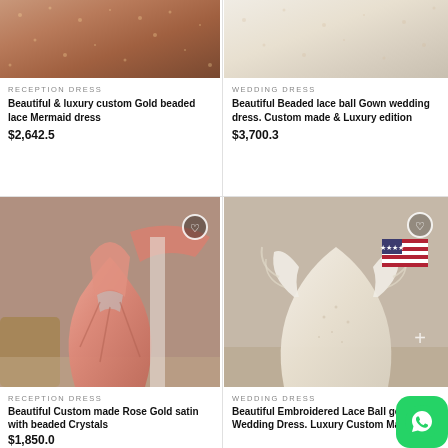[Figure (photo): Close-up photo of a gold beaded lace mermaid dress, top portion only, showing sparkly sequined fabric]
RECEPTION DRESS
Beautiful & luxury custom Gold beaded lace Mermaid dress
$2,642.5
[Figure (photo): Close-up photo of a white beaded lace ball gown wedding dress, top portion showing delicate lace and beading]
WEDDING DRESS
Beautiful Beaded lace ball Gown wedding dress. Custom made & Luxury edition
$3,700.3
[Figure (photo): Full-length photo of a pink rose gold satin one-shoulder dress with beaded crystal cutout waist details, back view]
RECEPTION DRESS
Beautiful Custom made Rose Gold satin with beaded Crystals
$1,850.0
[Figure (photo): Full-length photo of a white embroidered lace ball gown wedding dress with feathered straps, back view, with US flag icon overlay]
WEDDING DRESS
Beautiful Embroidered Lace Ball gown Wedding Dress. Luxury Custom Made
[Figure (logo): WhatsApp icon button, green rounded square with white phone/chat icon]